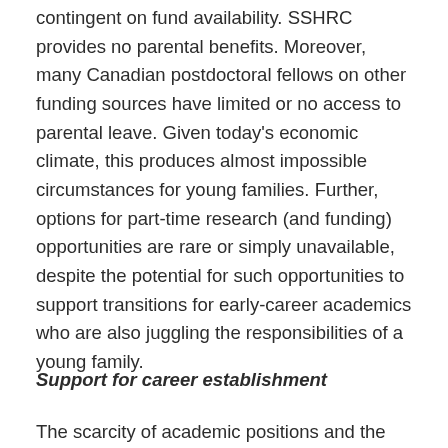contingent on fund availability. SSHRC provides no parental benefits. Moreover, many Canadian postdoctoral fellows on other funding sources have limited or no access to parental leave. Given today's economic climate, this produces almost impossible circumstances for young families. Further, options for part-time research (and funding) opportunities are rare or simply unavailable, despite the potential for such opportunities to support transitions for early-career academics who are also juggling the responsibilities of a young family.
Support for career establishment
The scarcity of academic positions and the high